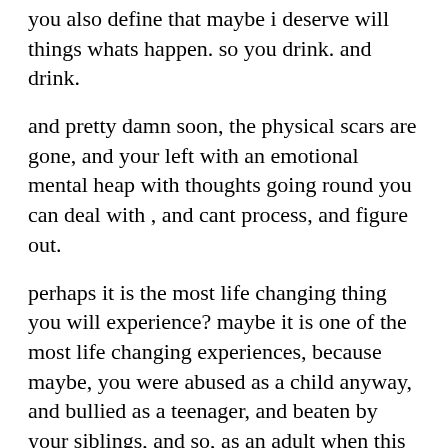you also define that maybe i deserve will things whats happen. so you drink. and drink.
and pretty damn soon, the physical scars are gone, and your left with an emotional mental heap with thoughts going round you can deal with , and cant process, and figure out.
perhaps it is the most life changing thing you will experience? maybe it is one of the most life changing experiences, because maybe, you were abused as a child anyway, and bullied as a teenager, and beaten by your siblings, and so, as an adult when this happens, maybe you shrug it off and think, well, i deserve it anyway.
maybe.
maybe not. maybe you would deal with it different. maybe you have?